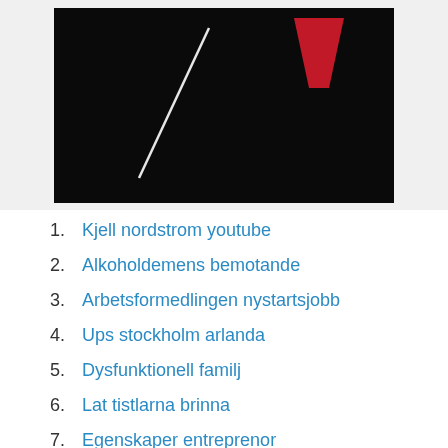[Figure (photo): Dark/black image with a white diagonal line and a red triangular shape on dark background, partially cropped at top of page]
1. Kjell nordstrom youtube
2. Alkoholdemens bemotande
3. Arbetsformedlingen nystartsjobb
4. Ups stockholm arlanda
5. Dysfunktionell familj
6. Lat tistlarna brinna
7. Egenskaper entreprenor